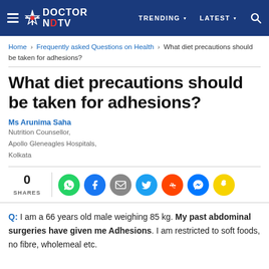DOCTOR NDTV | TRENDING | LATEST
Home › Frequently asked Questions on Health › What diet precautions should be taken for adhesions?
What diet precautions should be taken for adhesions?
Ms Arunima Saha
Nutrition Counsellor,
Apollo Gleneagles Hospitals,
Kolkata
0 SHARES
Q: I am a 66 years old male weighing 85 kg. My past abdominal surgeries have given me Adhesions. I am restricted to soft foods, no fibre, wholemeal etc.